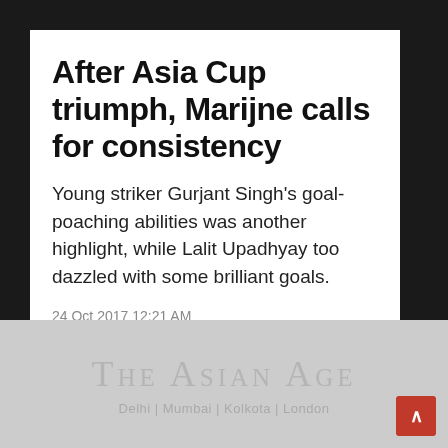After Asia Cup triumph, Marijne calls for consistency
Young striker Gurjant Singh's goal-poaching abilities was another highlight, while Lalit Upadhyay too dazzled with some brilliant goals.
24 Oct 2017 12:21 AM
[Figure (logo): The Asian Age newspaper logo with tagline: Delhi | Mumbai | Kolkota | London]